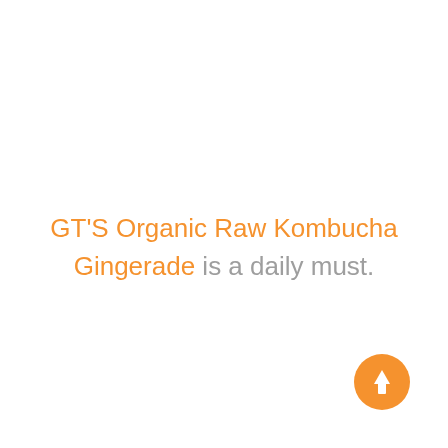GT'S Organic Raw Kombucha Gingerade is a daily must.
[Figure (other): Orange circular button with white upward arrow icon]